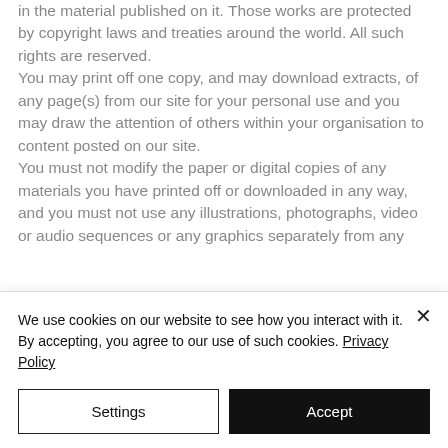in the material published on it. Those works are protected by copyright laws and treaties around the world. All such rights are reserved.
You may print off one copy, and may download extracts, of any page(s) from our site for your personal use and you may draw the attention of others within your organisation to content posted on our site.
You must not modify the paper or digital copies of any materials you have printed off or downloaded in any way, and you must not use any illustrations, photographs, video or audio sequences or any graphics separately from any
We use cookies on our website to see how you interact with it. By accepting, you agree to our use of such cookies. Privacy Policy